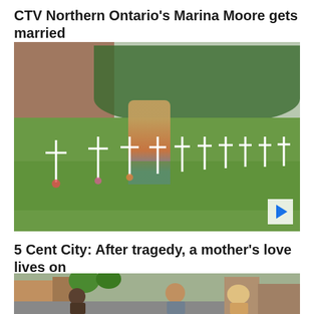CTV Northern Ontario's Marina Moore gets married
[Figure (photo): A person walking among rows of white crosses in a grassy area, with trees and a brick building in the background. A blue play button is visible in the bottom right corner of the video thumbnail.]
5 Cent City: After tragedy, a mother's love lives on
[Figure (photo): A street scene showing people including a man with sunglasses and a woman, with trees and buildings along a city street in the background.]